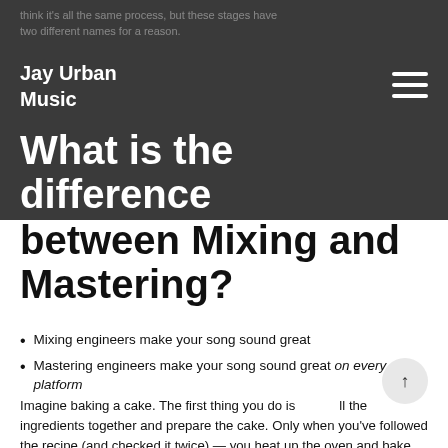think it's all the same process, but these stages have two different names for a reason.
Jay Urban Music
What is the difference between Mixing and Mastering?
Mixing engineers make your song sound great
Mastering engineers make your song sound great on every platform
Imagine baking a cake. The first thing you do is pull all the ingredients together and prepare the cake. Only when you've followed the recipe (and checked it twice) — you heat up the oven and bake your cake.